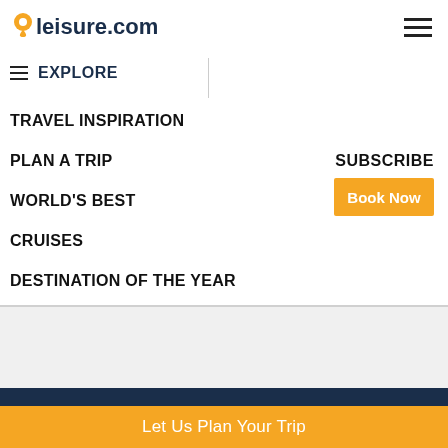leisure.com
EXPLORE
TRAVEL INSPIRATION
PLAN A TRIP
WORLD'S BEST
CRUISES
DESTINATION OF THE YEAR
SUBSCRIBE
Book Now
Let Us Plan Your Trip